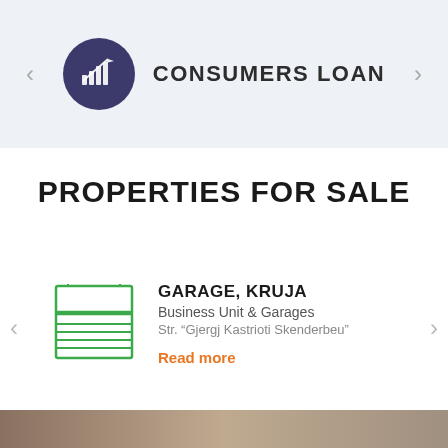[Figure (logo): Dark blue circle with bar chart and upward arrow icon representing Consumers Loan product]
CONSUMERS LOAN
PROPERTIES FOR SALE
[Figure (illustration): Green outline illustration of a garage/business unit building]
GARAGE, KRUJA
Business Unit & Garages
Str. “Gjergj Kastrioti Skenderbeu”
Read more